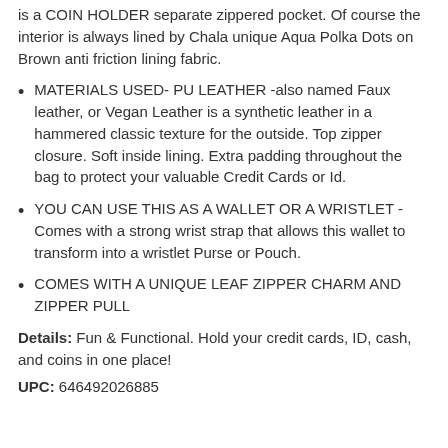is a COIN HOLDER separate zippered pocket. Of course the interior is always lined by Chala unique Aqua Polka Dots on Brown anti friction lining fabric.
MATERIALS USED- PU LEATHER -also named Faux leather, or Vegan Leather is a synthetic leather in a hammered classic texture for the outside. Top zipper closure. Soft inside lining. Extra padding throughout the bag to protect your valuable Credit Cards or Id.
YOU CAN USE THIS AS A WALLET OR A WRISTLET - Comes with a strong wrist strap that allows this wallet to transform into a wristlet Purse or Pouch.
COMES WITH A UNIQUE LEAF ZIPPER CHARM AND ZIPPER PULL
Details: Fun & Functional. Hold your credit cards, ID, cash, and coins in one place!
UPC: 646492026885